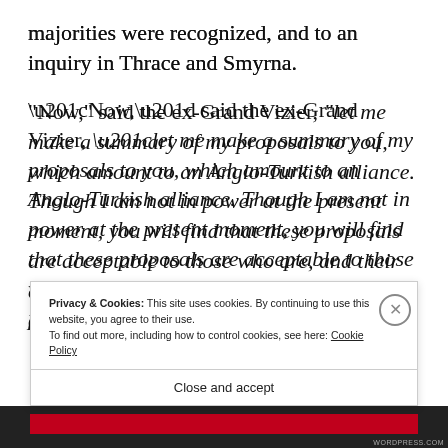majorities were recognized, and to an inquiry in Thrace and Smyrna.
“Now,” said the ex-Grand Vizier, “let me make a summary of my proposals to you, which amount to an Anglo-Turkish alliance. Though I am not in power at the present moment, you will find that these proposals are acceptable to those who are, and their acceptance will bring peace to you as well as to us.
Privacy & Cookies: This site uses cookies. By continuing to use this website, you agree to their use. To find out more, including how to control cookies, see here: Cookie Policy
Close and accept